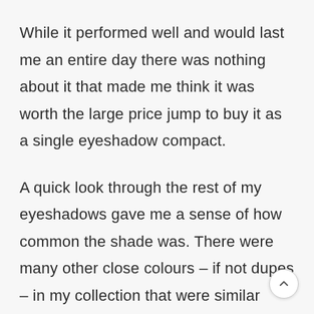While it performed well and would last me an entire day there was nothing about it that made me think it was worth the large price jump to buy it as a single eyeshadow compact.
A quick look through the rest of my eyeshadows gave me a sense of how common the shade was. There were many other close colours – if not dupes – in my collection that were similar enough for me to be able to get the same effect on my eyes